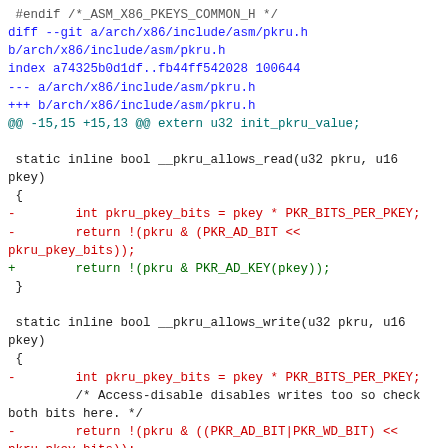diff patch code showing changes to arch/x86/include/asm/pkru.h, removing PKR_BITS_PER_PKEY based bit shifting and replacing with PKR_AD_KEY and PKR_WD_KEY macros